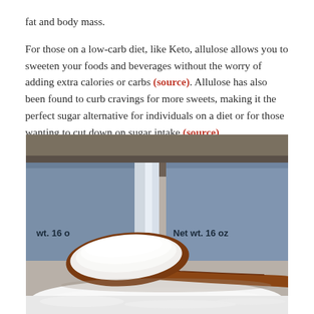For those on a low-carb diet, like Keto, allulose allows you to sweeten your foods and beverages without the worry of adding extra calories or carbs (source). Allulose has also been found to curb cravings for more sweets, making it the perfect sugar alternative for individuals on a diet or for those wanting to cut down on sugar intake (source).
[Figure (photo): A wooden spoon heaped with white powdered allulose sugar, with a blue bag labeled 'Net wt. 16 oz' in the background. White powder is scattered on the surface.]